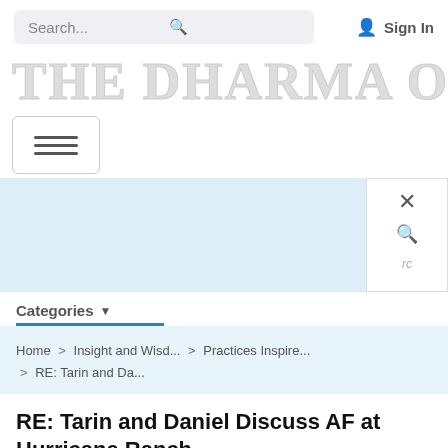Search... [search icon]  [person icon] Sign In
THE DHARMA OVER...
[Figure (screenshot): Hamburger menu button with three horizontal bars]
[Figure (screenshot): Light blue advertisement banner area with a white overlay panel showing an X close button, search icon, and 'rc' text]
Categories ▾
Home > Insight and Wisd... > Practices Inspire... > RE: Tarin and Da...
RE: Tarin and Daniel Discuss AF at Hurricane Ranch